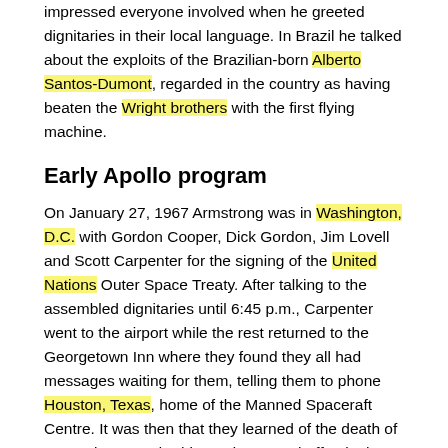impressed everyone involved when he greeted dignitaries in their local language. In Brazil he talked about the exploits of the Brazilian-born Alberto Santos-Dumont, regarded in the country as having beaten the Wright brothers with the first flying machine.
Early Apollo program
On January 27, 1967 Armstrong was in Washington, D.C. with Gordon Cooper, Dick Gordon, Jim Lovell and Scott Carpenter for the signing of the United Nations Outer Space Treaty. After talking to the assembled dignitaries until 6:45 p.m., Carpenter went to the airport while the rest returned to the Georgetown Inn where they found they all had messages waiting for them, telling them to phone Houston, Texas, home of the Manned Spaceraft Centre. It was then that they learned of the death of Gus Grissom, Ed White and Roger Chaffee in the Apollo 1 fire. The remaining four spent the rest of the night drinking scotch and discussing what had happened. Back in Houston, Janet was tasked with going to next door neighbour Pat White and being with her until Bill Anders arrived with the terrible news.
On April 5, 1967, the same day the Apollo 1 investigation released its report on the fire, Armstrong was assembled with 17 other astronauts for a meeting with Deke Slayton. The first thing Slayton said was "the guys who are going to fly the first lunar missions are the guys in this room." According to Gene Cernan, Armstrong showed no reaction to the statement. To Armstrong it came as no surprise — the room was full of